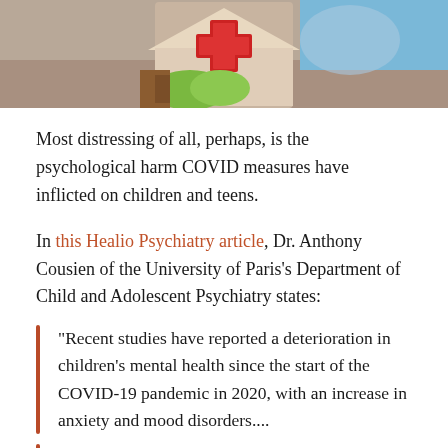[Figure (illustration): Top portion of an illustrated image showing what appears to be a cartoon/drawing of a medical cross symbol and other colorful illustrated elements on a brownish background.]
Most distressing of all, perhaps, is the psychological harm COVID measures have inflicted on children and teens.
In this Healio Psychiatry article, Dr. Anthony Cousien of the University of Paris's Department of Child and Adolescent Psychiatry states:
“Recent studies have reported a deterioration in children’s mental health since the start of the COVID-19 pandemic in 2020, with an increase in anxiety and mood disorders....
“Rates of suicide ideation and suicide attempts among children were also higher when COVID-19–